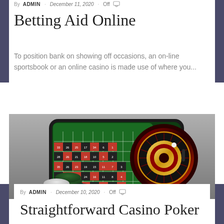By ADMIN · December 11, 2020 · Off
Betting Aid Online
To position bank on showing off occasions, an on-line sportsbook or an online casino is made use of where you...
[Figure (photo): Online roulette game displayed on a smartphone screen surrounded by casino chips]
By ADMIN · December 10, 2020 · Off
Straightforward Casino Poker